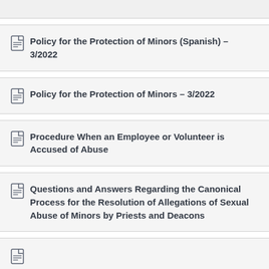Policy for the Protection of Minors (Spanish) – 3/2022
Policy for the Protection of Minors – 3/2022
Procedure When an Employee or Volunteer is Accused of Abuse
Questions and Answers Regarding the Canonical Process for the Resolution of Allegations of Sexual Abuse of Minors by Priests and Deacons